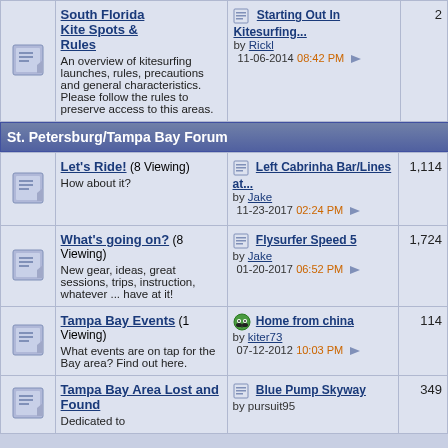|  | Forum | Last Post | Count |
| --- | --- | --- | --- |
| [icon] | South Florida Kite Spots & Rules
An overview of kitesurfing launches, rules, precautions and general characteristics. Please follow the rules to preserve access to this areas. | Starting Out In Kitesurfing... by Rickl 11-06-2014 08:42 PM | 2 |
St. Petersburg/Tampa Bay Forum
|  | Forum | Last Post | Count |
| --- | --- | --- | --- |
| [icon] | Let's Ride! (8 Viewing)
How about it? | Left Cabrinha Bar/Lines at... by Jake 11-23-2017 02:24 PM | 1,114 |
| [icon] | What's going on? (8 Viewing)
New gear, ideas, great sessions, trips, instruction, whatever ... have at it! | Flysurfer Speed 5 by Jake 01-20-2017 06:52 PM | 1,724 |
| [icon] | Tampa Bay Events (1 Viewing)
What events are on tap for the Bay area? Find out here. | Home from china by kiter73 07-12-2012 10:03 PM | 114 |
| [icon] | Tampa Bay Area Lost and Found
Dedicated to | Blue Pump Skyway by pursuit95 | 349 |